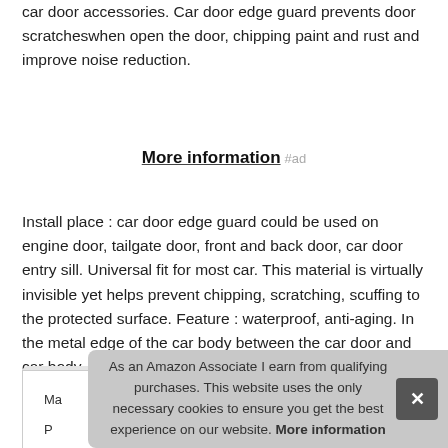car door accessories. Car door edge guard prevents door scratcheswhen open the door, chipping paint and rust and improve noise reduction.
More information #ad
Install place : car door edge guard could be used on engine door, tailgate door, front and back door, car door entry sill. Universal fit for most car. This material is virtually invisible yet helps prevent chipping, scratching, scuffing to the protected surface. Feature : waterproof, anti-aging. In the metal edge of the car body between the car door and car body.
As an Amazon Associate I earn from qualifying purchases. This website uses the only necessary cookies to ensure you get the best experience on our website. More information